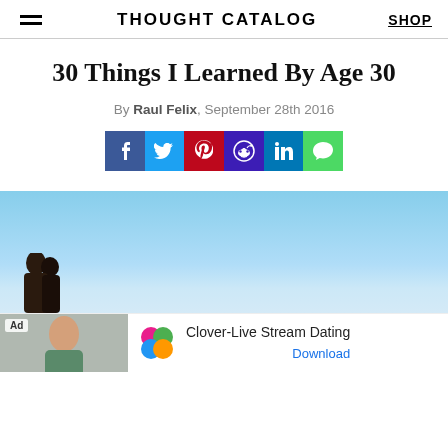THOUGHT CATALOG
30 Things I Learned By Age 30
By Raul Felix, September 28th 2016
[Figure (infographic): Social sharing buttons: Facebook, Twitter, Pinterest, Reddit, LinkedIn, Messaging]
[Figure (photo): Hero image with blue sky background and couple silhouette at bottom left]
[Figure (infographic): Ad banner: Clover-Live Stream Dating app advertisement with Download link]